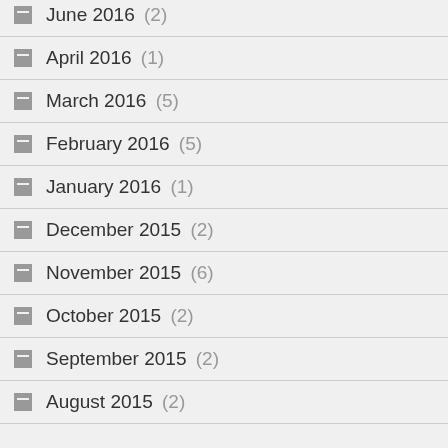June 2016 (2)
April 2016 (1)
March 2016 (5)
February 2016 (5)
January 2016 (1)
December 2015 (2)
November 2015 (6)
October 2015 (2)
September 2015 (2)
August 2015 (2)